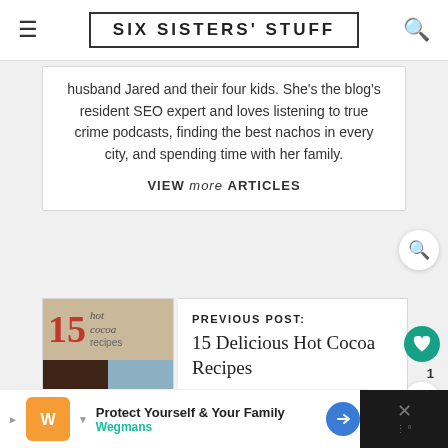SIX SISTERS' STUFF
husband Jared and their four kids. She’s the blog's resident SEO expert and loves listening to true crime podcasts, finding the best nachos in every city, and spending time with her family.
VIEW more ARTICLES
[Figure (photo): Image of 15 Hot Cocoa Recipes collage with red number 15, text, and food photos]
PREVIOUS POST: 15 Delicious Hot Cocoa Recipes
Protect Yourself & Your Family Wegmans